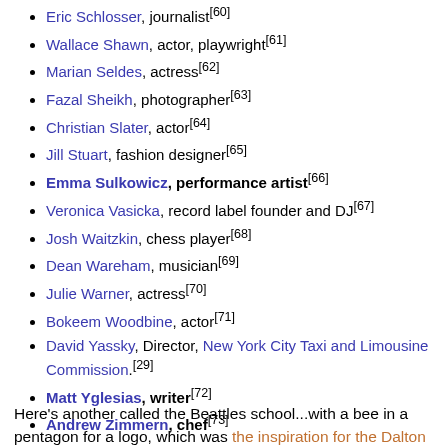Eric Schlosser, journalist[60]
Wallace Shawn, actor, playwright[61]
Marian Seldes, actress[62]
Fazal Sheikh, photographer[63]
Christian Slater, actor[64]
Jill Stuart, fashion designer[65]
Emma Sulkowicz, performance artist[66]
Veronica Vasicka, record label founder and DJ[67]
Josh Waitzkin, chess player[68]
Dean Wareham, musician[69]
Julie Warner, actress[70]
Bokeem Woodbine, actor[71]
David Yassky, Director, New York City Taxi and Limousine Commission.[29]
Matt Yglesias, writer[72]
Andrew Zimmern, chef[73]
Here's another called the Beattles school...with a bee in a pentagon for a logo, which was the inspiration for the Dalton